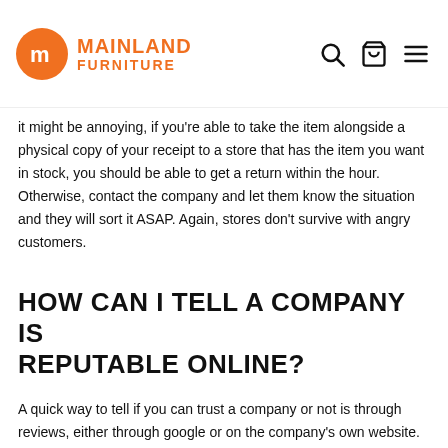[Figure (logo): Mainland Furniture logo with orange circle containing 'm' icon and orange text 'MAINLAND FURNITURE']
it might be annoying, if you're able to take the item alongside a physical copy of your receipt to a store that has the item you want in stock, you should be able to get a return within the hour. Otherwise, contact the company and let them know the situation and they will sort it ASAP. Again, stores don't survive with angry customers.
HOW CAN I TELL A COMPANY IS REPUTABLE ONLINE?
A quick way to tell if you can trust a company or not is through reviews, either through google or on the company's own website. Reviews obviously show if a customer was happy with their experience with the company or not, however, also take note of whether the reviews follow any trends as many businesses use bots to artificially inflate their review scores. So make sure that the reviews seem genuine...